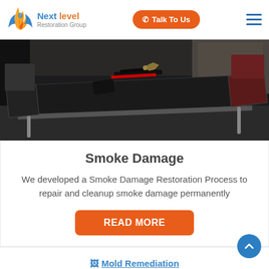Next level Restoration Group | Talk To Us
[Figure (photo): Dark photo of a dining area with black chairs and a black table covered with books/items, in a smoke-damaged room]
Smoke Damage
We developed a Smoke Damage Restoration Process to repair and cleanup smoke damage permanently
READ MORE
Mold Remediation